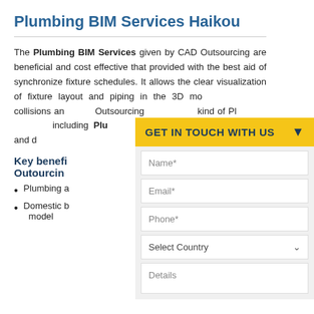Plumbing BIM Services Haikou
The Plumbing BIM Services given by CAD Outsourcing are beneficial and cost effective that provided with the best aid of synchronize fixture schedules. It allows the clear visualization of fixture layout and piping in the 3D mo... collisions an... Outsourcing ... kind of Pl... including Plu... Detailing tha... drafting and d...
Key benefi... Outsourchig...
Plumbing a...
Domestic b... model